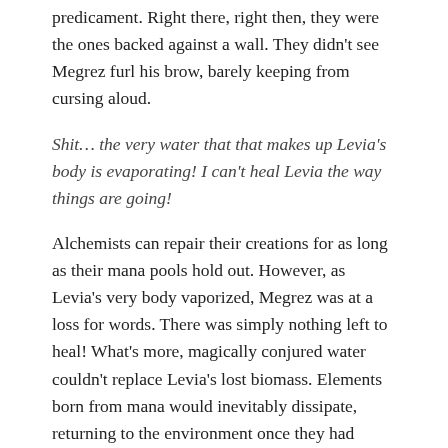predicament. Right there, right then, they were the ones backed against a wall. They didn't see Megrez furl his brow, barely keeping from cursing aloud.
Shit… the very water that that makes up Levia's body is evaporating! I can't heal Levia the way things are going!
Alchemists can repair their creations for as long as their mana pools hold out. However, as Levia's very body vaporized, Megrez was at a loss for words. There was simply nothing left to heal! What's more, magically conjured water couldn't replace Levia's lost biomass. Elements born from mana would inevitably dissipate, returning to the environment once they had served their purpose.
Although the beasts looked evenly matched, nothing could be further from the truth. In reality, Suvell's last line of defense stood on the brink of collapse. Even if Levia managed to grasp victory, the weakened dragon would not live to see another battle. Nevertheless,